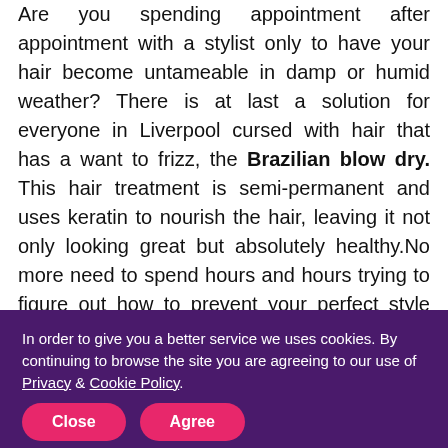Do you often have issues with your hair frizzing? Are you spending appointment after appointment with a stylist only to have your hair become untameable in damp or humid weather? There is at last a solution for everyone in Liverpool cursed with hair that has a want to frizz, the Brazilian blow dry. This hair treatment is semi-permanent and uses keratin to nourish the hair, leaving it not only looking great but absolutely healthy.No more need to spend hours and hours trying to figure out how to prevent your perfect style from being ruined by the slightest bit of humidity in the air, or to be spending hundreds on various treatments. This
In order to give you a better service we uses cookies. By continuing to browse the site you are agreeing to our use of Privacy & Cookie Policy.